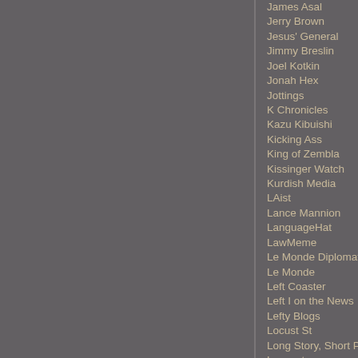James Asal
Jerry Brown
Jesus' General
Jimmy Breslin
Joel Kotkin
Jonah Hex
Jottings
K Chronicles
Kazu Kibuishi
Kicking Ass
King of Zembla
Kissinger Watch
Kurdish Media
LAist
Lance Mannion
LanguageHat
LawMeme
Le Monde Diplomatique
Le Monde
Left Coaster
Left I on the News
Lefty Blogs
Locust St
Long Story, Short Pier
Lowcrats.com
Mad Kane
Majikthise
MaxSpeak
Mayor Sam
Media Girl